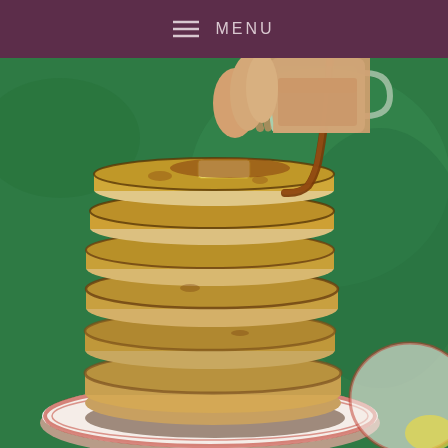MENU
[Figure (photo): Stack of fluffy pancakes with a pat of butter on top, being drizzled with maple syrup poured from a glass pitcher by a hand. The pancakes sit on a decorative red and white plate against a green background.]